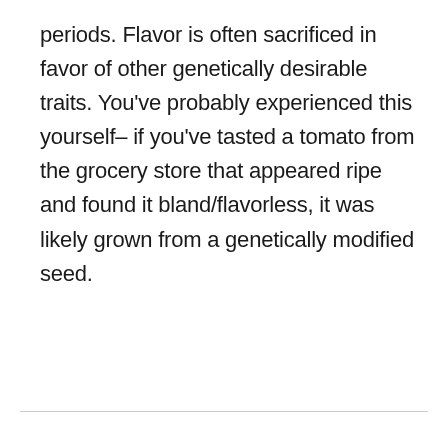periods. Flavor is often sacrificed in favor of other genetically desirable traits. You've probably experienced this yourself– if you've tasted a tomato from the grocery store that appeared ripe and found it bland/flavorless, it was likely grown from a genetically modified seed.